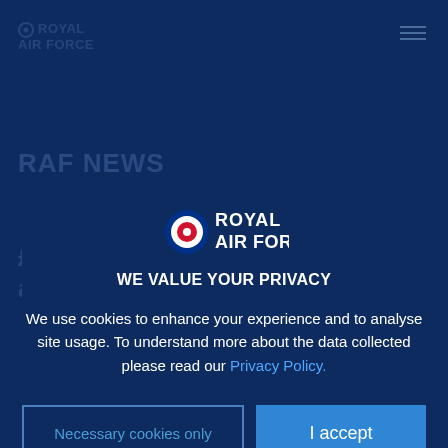[Figure (logo): Royal Air Force logo watermark top-left, partially transparent]
[Figure (logo): Hamburger menu icon top-right, partially transparent]
RAF NEWS
£195m contract signed for 13 additional...
[Figure (logo): Royal Air Force roundel logo in colour]
WE VALUE YOUR PRIVACY
We use cookies to enhance your experience and to analyse site usage. To understand more about the data collected please read our Privacy Policy.
Necessary cookies only
I accept